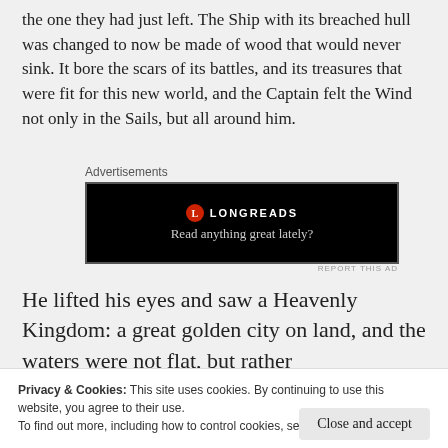the one they had just left. The Ship with its breached hull was changed to now be made of wood that would never sink. It bore the scars of its battles, and its treasures that were fit for this new world, and the Captain felt the Wind not only in the Sails, but all around him.
[Figure (other): Longreads advertisement banner: black background with Longreads logo (red circle with L) and tagline 'Read anything great lately?']
He lifted his eyes and saw a Heavenly Kingdom: a great golden city on land, and the waters were not flat, but rather
Privacy & Cookies: This site uses cookies. By continuing to use this website, you agree to their use.
To find out more, including how to control cookies, see here: Cookie Policy
up the River of life; on either side of the River grew trees of